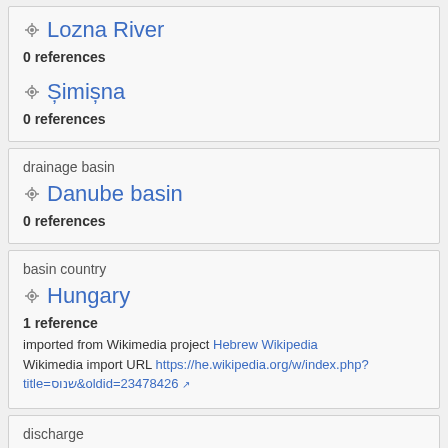Lozna River
0 references
Șimișna
0 references
drainage basin
Danube basin
0 references
basin country
Hungary
1 reference
imported from Wikimedia project Hebrew Wikipedia
Wikimedia import URL https://he.wikipedia.org/w/index.php?title=שנוס&oldid=23478426
discharge